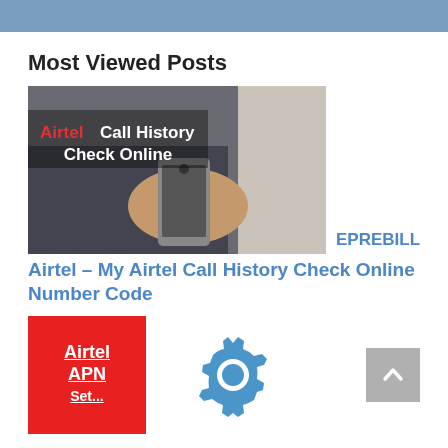Most Viewed Posts
[Figure (photo): Person holding a smartphone, with text overlay reading 'Airtel Call History Check Online']
EPREBILL
Airtel – My Airtel Call History Check Online Number Code
[Figure (illustration): Red box with white bold underlined text: 'Airtel APN Set...' (partially visible)]
[Figure (illustration): Blue gear/settings icon]
[Figure (illustration): Scroll-to-top button, grey rounded rectangle with up caret]